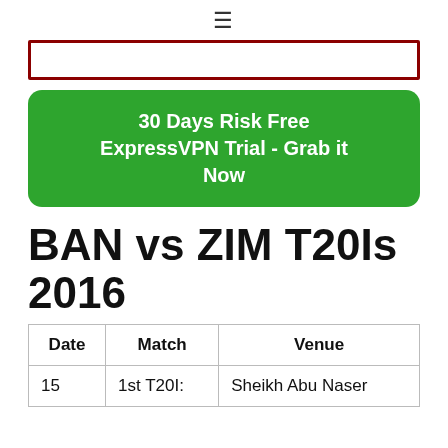≡
[Figure (other): Red bordered empty input/search box]
30 Days Risk Free ExpressVPN Trial - Grab it Now
BAN vs ZIM T20Is 2016
| Date | Match | Venue |
| --- | --- | --- |
| 15 | 1st T20I: | Sheikh Abu Naser |